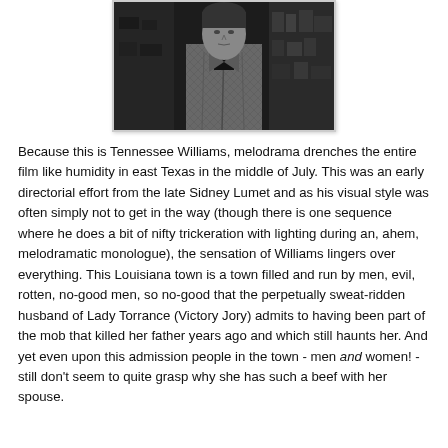[Figure (photo): Black and white photograph of a person wearing a patterned jacket, looking slightly downward, with a dark background suggesting an indoor setting with shelves or store items.]
Because this is Tennessee Williams, melodrama drenches the entire film like humidity in east Texas in the middle of July. This was an early directorial effort from the late Sidney Lumet and as his visual style was often simply not to get in the way (though there is one sequence where he does a bit of nifty trickeration with lighting during an, ahem, melodramatic monologue), the sensation of Williams lingers over everything. This Louisiana town is a town filled and run by men, evil, rotten, no-good men, so no-good that the perpetually sweat-ridden husband of Lady Torrance (Victory Jory) admits to having been part of the mob that killed her father years ago and which still haunts her. And yet even upon this admission people in the town - men and women! - still don't seem to quite grasp why she has such a beef with her spouse.